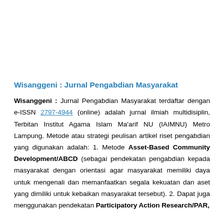Wisanggeni : Jurnal Pengabdian Masyarakat
Wisanggeni : Jurnal Pengabdian Masyarakat terdaftar dengan e-ISSN 2797-4944 (online) adalah jurnal ilmiah multidisiplin, Terbitan Institut Agama Islam Ma'arif NU (IAIMNU) Metro Lampung. Metode atau strategi peulisan artikel riset pengabdian yang digunakan adalah: 1. Metode Asset-Based Community Development/ABCD (sebagai pendekatan pengabdian kepada masyarakat dengan orientasi agar masyarakat memiliki daya untuk mengenali dan memanfaatkan segala kekuatan dan aset yang dimiliki untuk kebaikan masyarakat tersebut). 2. Dapat juga menggunakan pendekatan Participatory Action Research/PAR,